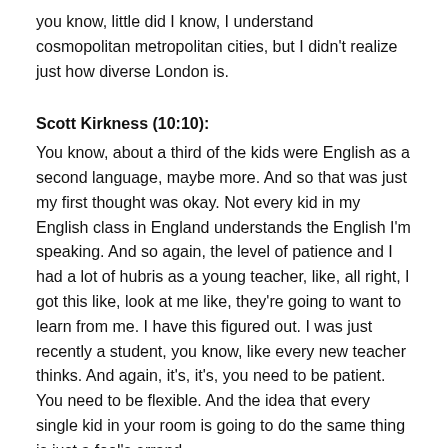you know, little did I know, I understand cosmopolitan metropolitan cities, but I didn't realize just how diverse London is.
Scott Kirkness (10:10):
You know, about a third of the kids were English as a second language, maybe more. And so that was just my first thought was okay. Not every kid in my English class in England understands the English I'm speaking. And so again, the level of patience and I had a lot of hubris as a young teacher, like, all right, I got this like, look at me like, they're going to want to learn from me. I have this figured out. I was just recently a student, you know, like every new teacher thinks. And again, it's, it's, you need to be patient. You need to be flexible. And the idea that every single kid in your room is going to do the same thing is just a fool's errand.